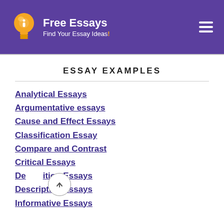Free Essays — Find Your Essay Ideas!
ESSAY EXAMPLES
Analytical Essays
Argumentative essays
Cause and Effect Essays
Classification Essay
Compare and Contrast
Critical Essays
Definition Essays
Descriptive Essays
Informative Essays